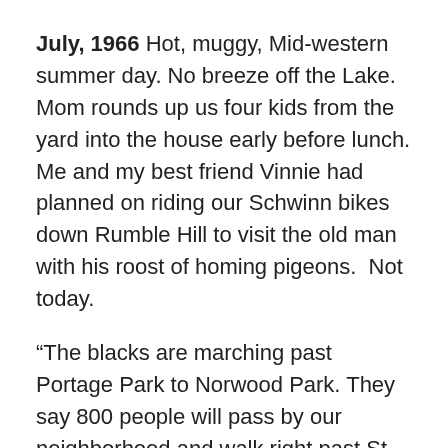July, 1966 Hot, muggy, Mid-western summer day. No breeze off the Lake. Mom rounds up us four kids from the yard into the house early before lunch. Me and my best friend Vinnie had planned on riding our Schwinn bikes down Rumble Hill to visit the old man with his roost of homing pigeons.  Not today.
“The blacks are marching past Portage Park to Norwood Park. They say 800 people will pass by our neighborhood and walk right past St. Monica’s church down the block from us. We’re all staying inside. People been throwing rocks at the marchers. I won’t let any of you kids get hurt. We’re not causing any trouble.” Not today. She looks worried, scared, pale. We obey without a fuss.
There are no black folks living in our neighborhood. This is